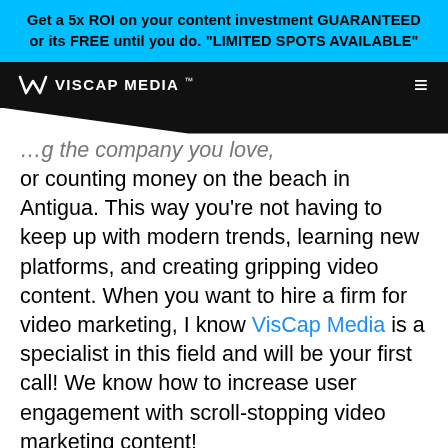Get a 5x ROI on your content investment GUARANTEED or its FREE until you do. "LIMITED SPOTS AVAILABLE"
[Figure (logo): Viscap Media logo with stylized VC icon in white on dark navbar]
...g the company you love, or counting money on the beach in Antigua. This way you’re not having to keep up with modern trends, learning new platforms, and creating gripping video content. When you want to hire a firm for video marketing, I know VisCap Media is a specialist in this field and will be your first call! We know how to increase user engagement with scroll-stopping video marketing content!
Anyways, all of these things have...